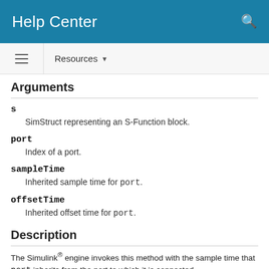Help Center
Arguments
s — SimStruct representing an S-Function block.
port — Index of a port.
sampleTime — Inherited sample time for port.
offsetTime — Inherited offset time for port.
Description
The Simulink® engine invokes this method with the sample time that port inherits from the port to which it is connected.
For C MEX S-functions, if the inherited sample time is acceptable...